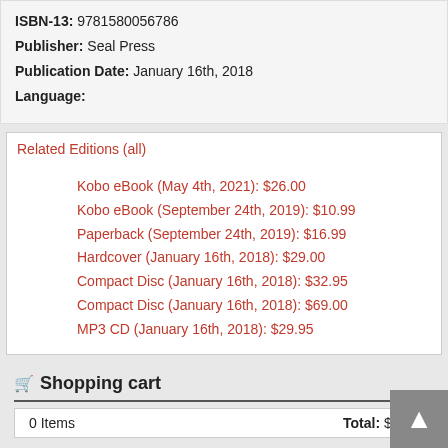ISBN-13: 9781580056786
Publisher: Seal Press
Publication Date: January 16th, 2018
Language:
Related Editions (all)
Kobo eBook (May 4th, 2021): $26.00
Kobo eBook (September 24th, 2019): $10.99
Paperback (September 24th, 2019): $16.99
Hardcover (January 16th, 2018): $29.00
Compact Disc (January 16th, 2018): $32.95
Compact Disc (January 16th, 2018): $69.00
MP3 CD (January 16th, 2018): $29.95
Shopping cart
0 Items
Total: $0.00